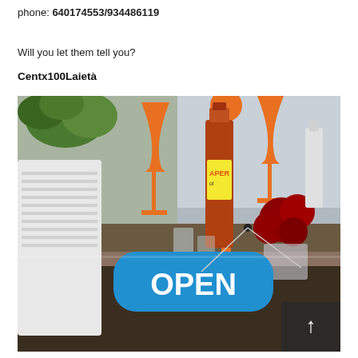phone: 640174553/934486119
Will you let them tell you?
Centx100Laietà
[Figure (photo): Bar counter photo showing orange Aperol wine glass decorations, an Aperol bottle, glasses, red roses in a vase, and a blue rounded rectangle sign reading OPEN in white bold text. A dark overlay arrow button is visible in the bottom-right corner.]